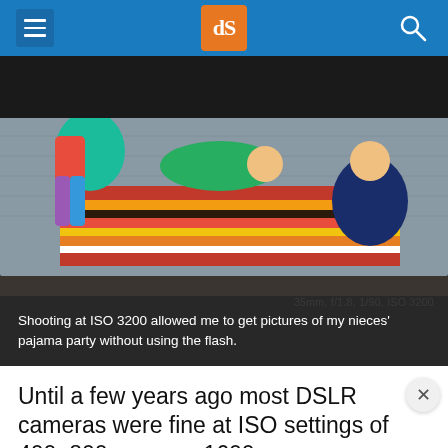dPS (digital Photography School) navigation header
[Figure (photo): Children in pajamas playing on a bed with a colorful striped blanket in a dimly lit room. Camera settings overlay: 35mm, f/1.8, 1/90, ISO 3200]
Shooting at ISO 3200 allowed me to get pictures of my nieces' pajama party without using the flash.
Until a few years ago most DSLR cameras were fine at ISO settings of 400, 800, or even 1600